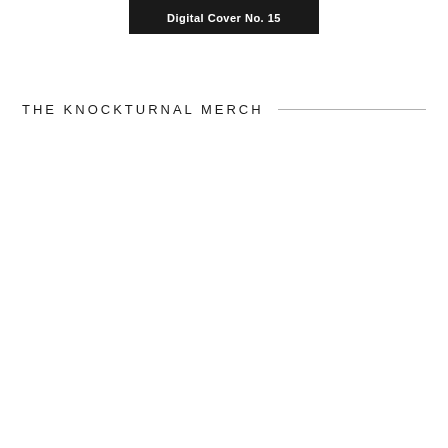Digital Cover No. 15
THE KNOCKTURNAL MERCH